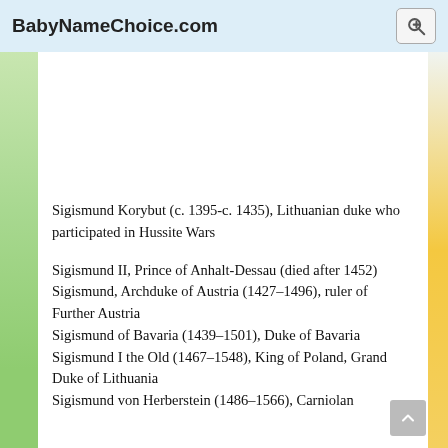BabyNameChoice.com
Sigismund Korybut (c. 1395-c. 1435), Lithuanian duke who participated in Hussite Wars
Sigismund II, Prince of Anhalt-Dessau (died after 1452)
Sigismund, Archduke of Austria (1427–1496), ruler of Further Austria
Sigismund of Bavaria (1439–1501), Duke of Bavaria
Sigismund I the Old (1467–1548), King of Poland, Grand Duke of Lithuania
Sigismund von Herberstein (1486–1566), Carniolan diplomat, automotive and author of the Mo...